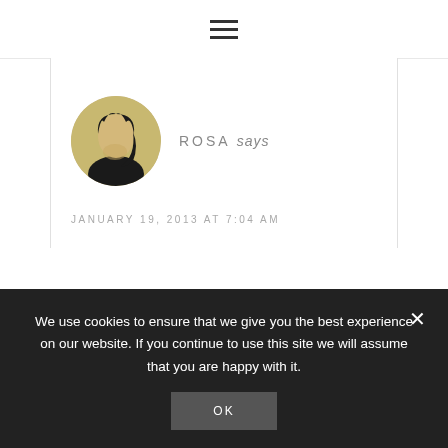≡
[Figure (photo): Circular avatar photo of a woman with dark hair looking to the side, with a yellowish-brown toned background]
ROSA says
JANUARY 19, 2013 AT 7:04 AM
Simply gorgeous! That egg is perfect
We use cookies to ensure that we give you the best experience on our website. If you continue to use this site we will assume that you are happy with it.
OK